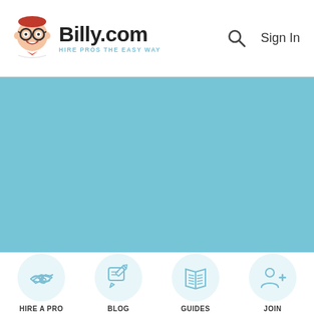[Figure (logo): Billy.com logo with cartoon character wearing glasses, text 'Billy.com' in bold and tagline 'HIRE PROS THE EASY WAY' in teal]
Sign In
[Figure (illustration): Large teal/light blue hero image area]
[Figure (infographic): Four navigation icons in light blue circles: HIRE A PRO (handshake icon), BLOG (pencil/message icon), GUIDES (open book icon), JOIN (person with plus icon)]